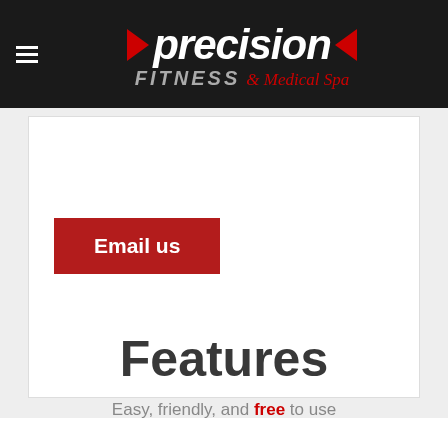[Figure (logo): Precision Fitness & Medical Spa logo with red arrows on black header background]
Email us
Features
Easy, friendly, and free to use